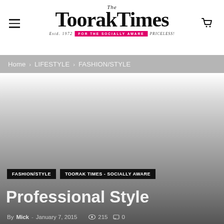The Toorak Times — Estd. 1972 — FOR THE SOCIALLY AWARE — PRICELESS!
Home › LIFESTYLE › FASHION/STYLE
[Figure (photo): Large hero image with gradient from white/light gray at top to dark gray at bottom, behind the article title overlay]
FASHION/STYLE   TOORAK TIMES - SOCIALLY AWARE
Professional Style
By Mick - January 7, 2015   215   0